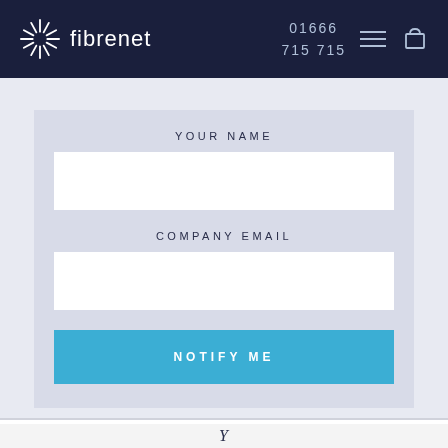fibrenet | 01666 715715
YOUR NAME
COMPANY EMAIL
NOTIFY ME
Y...